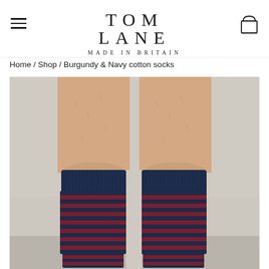TOM LANE MADE IN BRITAIN
Home / Shop / Burgundy & Navy cotton socks
[Figure (photo): A man's legs from the knee down wearing navy and burgundy horizontal-striped cotton socks, standing against a light grey concrete wall.]